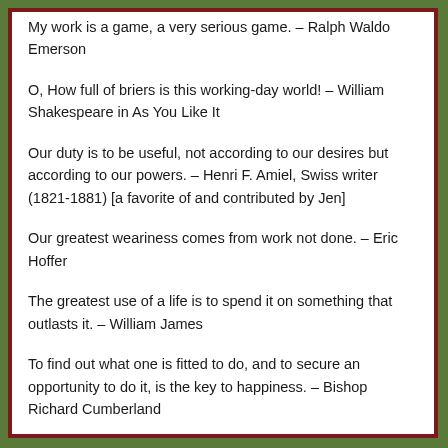My work is a game, a very serious game. – Ralph Waldo Emerson
O, How full of briers is this working-day world! – William Shakespeare in As You Like It
Our duty is to be useful, not according to our desires but according to our powers. – Henri F. Amiel, Swiss writer (1821-1881) [a favorite of and contributed by Jen]
Our greatest weariness comes from work not done. – Eric Hoffer
The greatest use of a life is to spend it on something that outlasts it. – William James
To find out what one is fitted to do, and to secure an opportunity to do it, is the key to happiness. – Bishop Richard Cumberland
Work is love made visible. – Kahil Gibran